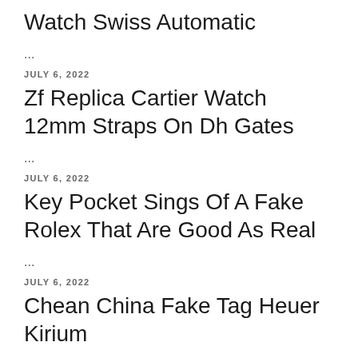Watch Swiss Automatic
...
JULY 6, 2022
Zf Replica Cartier Watch 12mm Straps On Dh Gates
...
JULY 6, 2022
Key Pocket Sings Of A Fake Rolex That Are Good As Real
...
JULY 6, 2022
Chean China Fake Tag Heuer Kirium